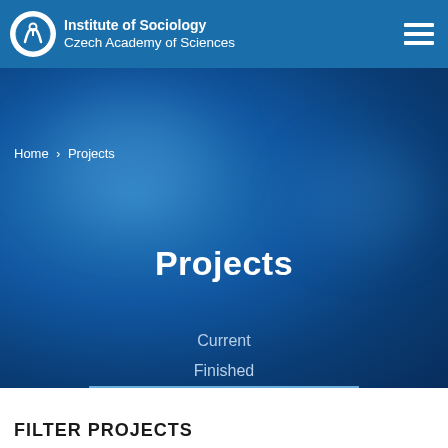Institute of Sociology Czech Academy of Sciences
Home > Projects
Projects
Current
Finished
All
FILTER PROJECTS